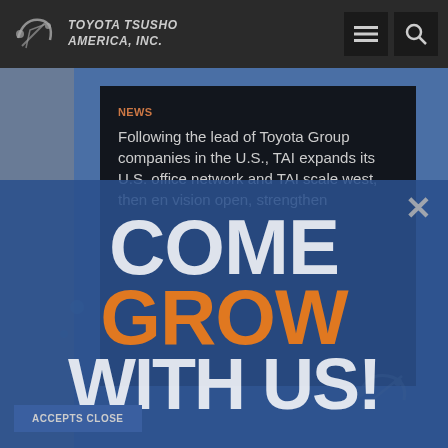[Figure (screenshot): Toyota Tsusho America, Inc. website screenshot showing navigation bar with logo, hamburger menu icon, and search icon on dark background.]
Following the lead of Toyota Group companies in the U.S., TAI expands its U.S. office network
[Figure (infographic): Blue overlay popup with large white text 'COME', orange bold text 'GROW', and white text 'WITH US!' — a recruitment call-to-action overlay.]